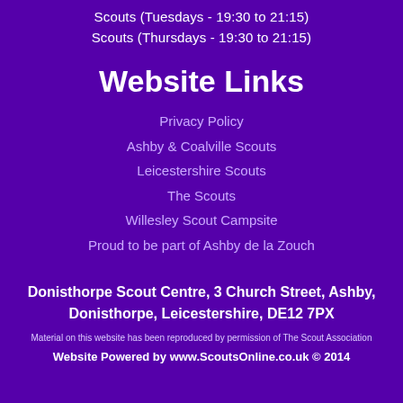Scouts (Tuesdays - 19:30 to 21:15)
Scouts (Thursdays - 19:30 to 21:15)
Website Links
Privacy Policy
Ashby & Coalville Scouts
Leicestershire Scouts
The Scouts
Willesley Scout Campsite
Proud to be part of Ashby de la Zouch
Donisthorpe Scout Centre, 3 Church Street, Ashby, Donisthorpe, Leicestershire, DE12 7PX
Material on this website has been reproduced by permission of The Scout Association
Website Powered by www.ScoutsOnline.co.uk © 2014